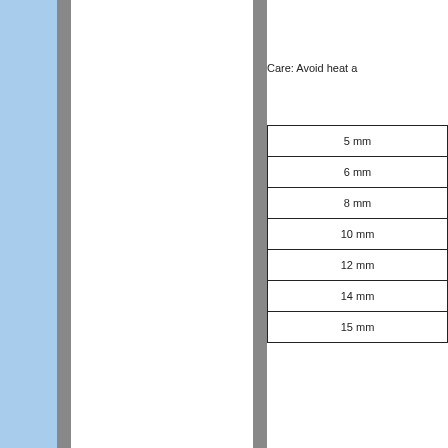Care: Avoid heat a
| 5 mm |
| 6 mm |
| 8 mm |
| 10 mm |
| 12 mm |
| 14 mm |
| 15 mm |